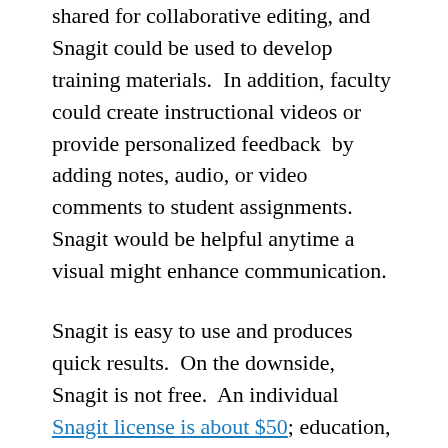shared for collaborative editing, and Snagit could be used to develop training materials.  In addition, faculty could create instructional videos or provide personalized feedback  by adding notes, audio, or video comments to student assignments.  Snagit would be helpful anytime a visual might enhance communication.
Snagit is easy to use and produces quick results.  On the downside, Snagit is not free.  An individual Snagit license is about $50; education, government/non-profit, and volume pricing is available.  Another shortcoming is that Snagit does not have the myriad of features available in products such as